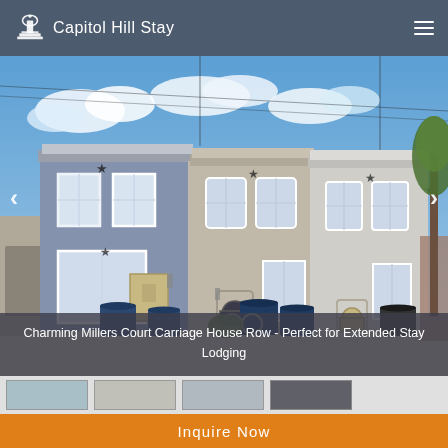Capitol Hill Stay
[Figure (photo): Photograph of Charming Millers Court Carriage House Row – a set of colorful two-story brick row houses (blue, tan/gray, light gray) with white-trimmed windows, decorative stars on the facades, trash bins in front, on a sunny day with blue sky.]
Charming Millers Court Carriage House Row - Perfect for Extended Stay Lodging
[Figure (photo): Thumbnail strip of property photos]
Inquire Now